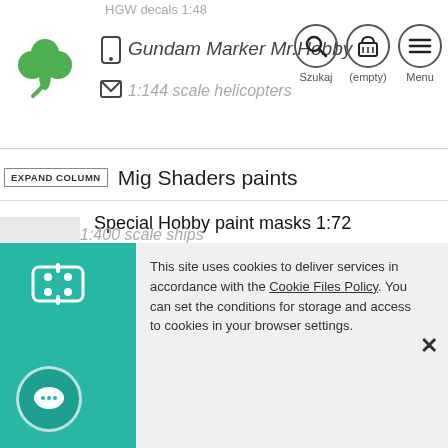HGW decals 1:48
[Figure (logo): Green shamrock/clover logo]
Gundam Marker Mr.Hobby
1:144 scale helicopters
[Figure (infographic): Navigation icons: Szukaj (search), (empty) basket, Menu]
EXPAND COLUMN  Mig Shaders paints
Special Hobby paint masks 1:72
Akkura aircrafts 1:72 scale
Xtreme Metal AK paints
Gundam SF kits
Vallejo paint masks 1:48
Vallejo paint masks 1:32
Dora Wings aircrafts 1:32 scale
This site uses cookies to deliver services in accordance with the Cookie Files Policy. You can set the conditions for storage and access to cookies in your browser settings.
1:400 scale ships